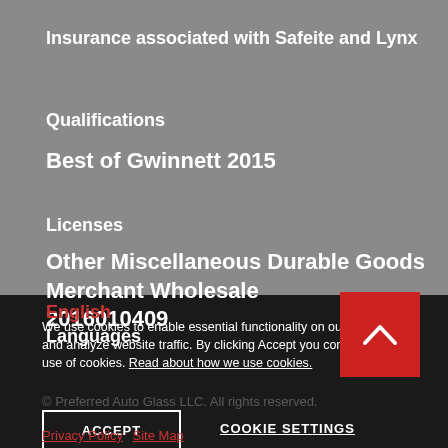Insurance associated with Safeite and Lynx
Qualifications
Best of Gwinnett 2015
Licenses
Other Miscellaneous Durable Goods Merchant Wholesale 2016010409
Languages
English
We use cookies to enable essential functionality on our website, and analyze website traffic. By clicking Accept you consent to our use of cookies. Read about how we use cookies.
© Preferred Auto Glass LLC. All rights reserved.
ACCEPT
COOKIE SETTINGS
Privacy Policy  Site Map